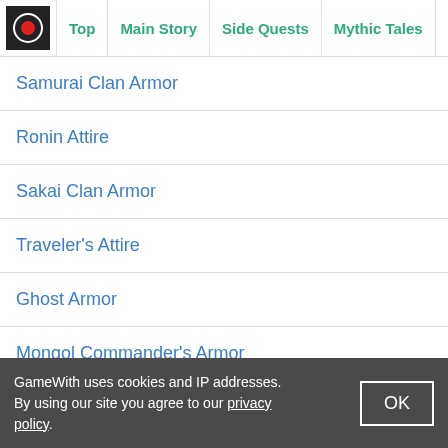Top | Main Story | Side Quests | Mythic Tales | Best Bu
Samurai Clan Armor
Ronin Attire
Sakai Clan Armor
Traveler's Attire
Ghost Armor
Mongol Commander's Armor
sei Armor
Fundoshi (Secret Armor)
Gosaku's Armor
GameWith uses cookies and IP addresses. By using our site you agree to our privacy policy.